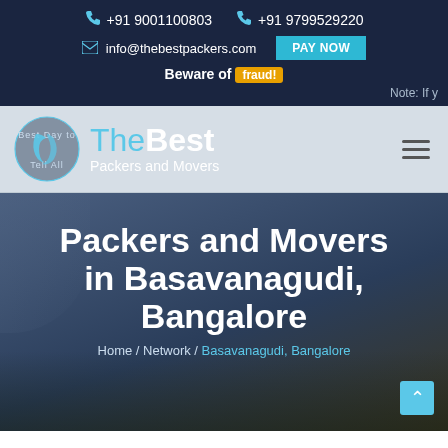+91 9001100803   +91 9799529220   info@thebestpackers.com   PAY NOW   Beware of fraud!   Note: If y
[Figure (logo): TheBest Packers and Movers circular logo with stylized letter b and tagline]
Packers and Movers in Basavanagudi, Bangalore
Home / Network / Basavanagudi, Bangalore